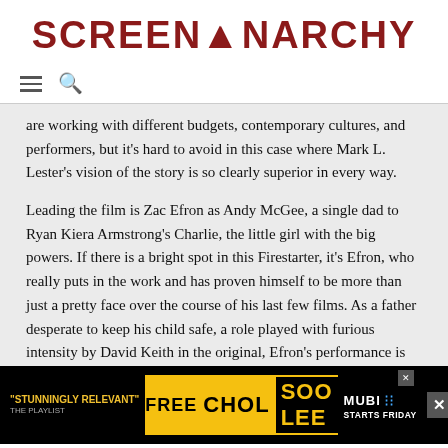SCREENANARCHY
are working with different budgets, contemporary cultures, and performers, but it's hard to avoid in this case where Mark L. Lester's vision of the story is so clearly superior in every way.
Leading the film is Zac Efron as Andy McGee, a single dad to Ryan Kiera Armstrong's Charlie, the little girl with the big powers. If there is a bright spot in this Firestarter, it's Efron, who really puts in the work and has proven himself to be more than just a pretty face over the course of his last few films. As a father desperate to keep his child safe, a role played with furious intensity by David Keith in the original, Efron's performance is rock solid but sw... oad, but ju... ie up
[Figure (screenshot): MUBI advertisement banner for 'Free Chol Soo Lee' documentary, with yellow text on black background, quote 'STUNNINGLY RELEVANT' from The Playlist, starts Friday. Close button on right.]